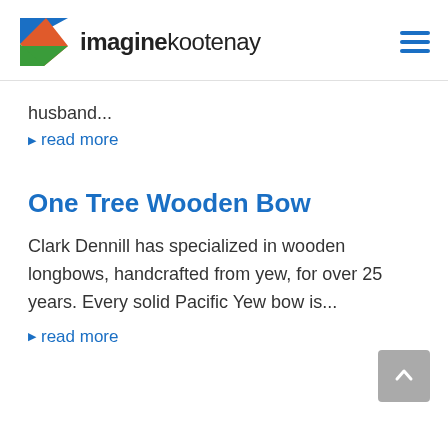imaginekootenay
husband...
▶ read more
One Tree Wooden Bow
Clark Dennill has specialized in wooden longbows, handcrafted from yew, for over 25 years. Every solid Pacific Yew bow is...
▶ read more